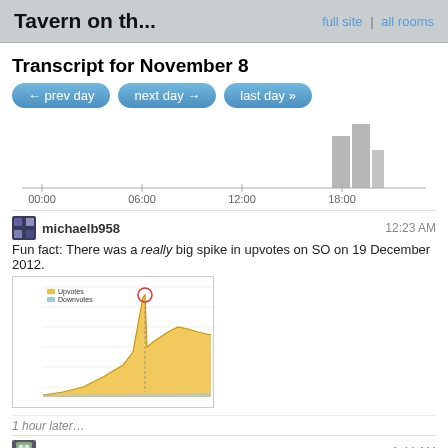Tavern on th... | full site | all rooms
Transcript for November 8
← prev day   next day →   last day »
[Figure (bar-chart): Activity chart showing message frequency by time of day, with bars around 18:00 hour being tallest]
michaelb958   12:23 AM
Fun fact: There was a really big spike in upvotes on SO on 19 December 2012.
[Figure (continuous-plot): Line/area chart showing upvotes over time with a spike on 19 December 2012, yellow area growing upward with a circled outlier spike]
1 hour later…
ajax333221   1:44 AM
maybe I contributed that day
unlikely, I didn't do any actions that day. edit: maybe I was too busy upvoting? edit2: not even with all my votes I couldn't possibly do any difference
2 hours later…